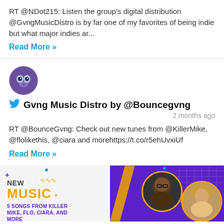RT @NDot215: Listen the group's digital distribution @GvngMusicDistro is by far one of my favorites of being indie but what major indies ar...
Read More »
[Figure (photo): Circular avatar with colorful illustration for Gvng Music Distro account]
Gvng Music Distro by @Bouncegvng
2 months ago
RT @BounceGvng: Check out new tunes from @KillerMike, @flolikethis, @ciara and morehttps://t.co/r5ehUvxiUf
Read More »
[Figure (infographic): Promotional image for new music featuring Killer Mike and Ciara. Purple background with 'NEW MUSIC' text and '5 SONGS FROM KILLER MIKE, FLO, CIARA, AND MORE']